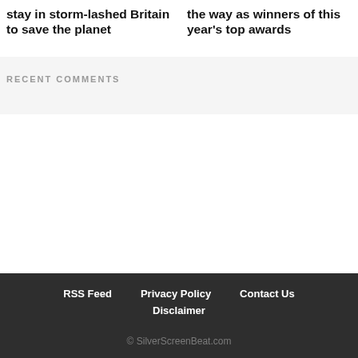stay in storm-lashed Britain to save the planet
the way as winners of this year's top awards
RECENT COMMENTS
RSS Feed  Privacy Policy  Contact Us  Disclaimer  © SilverScreenBeat.com